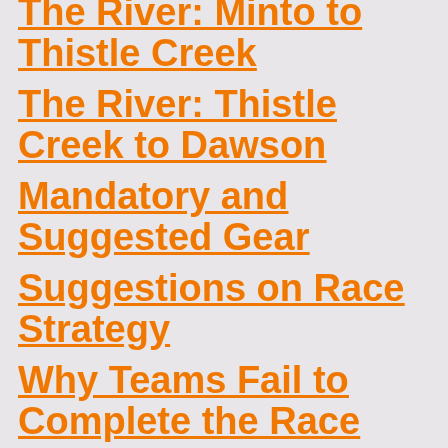The River: Minto to Thistle Creek
The River: Thistle Creek to Dawson
Mandatory and Suggested Gear
Suggestions on Race Strategy
Why Teams Fail to Complete the Race
Last Word